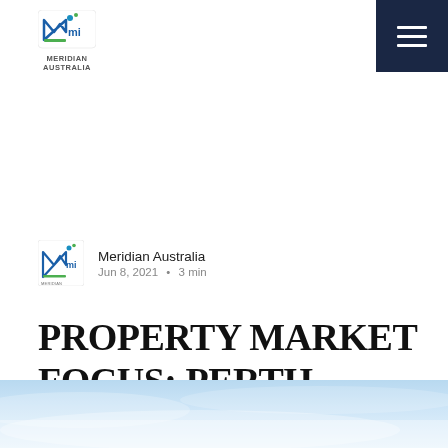Meridian Australia
Meridian Australia
Jun 8, 2021 · 3 min
PROPERTY MARKET FOCUS: PERTH
[Figure (photo): Light blue gradient sky/aerial photo at the bottom of the page]